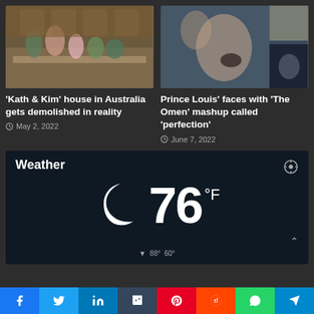[Figure (photo): Family group photo in a kitchen setting — 'Kath & Kim' house]
[Figure (photo): Prince Louis making faces with 'The Omen' mashup composite photo]
'Kath & Kim' house in Australia gets demolished in reality
May 2, 2022
Prince Louis' faces with 'The Omen' mashup called 'perfection'
June 7, 2022
Weather
76 °F
88° 60°